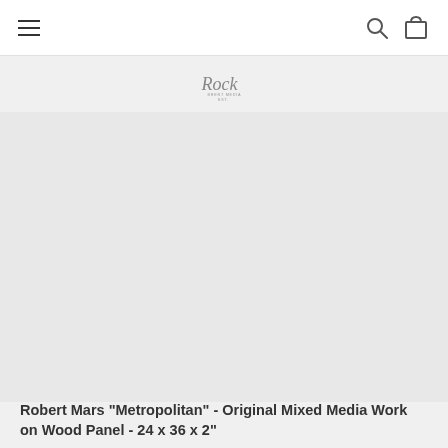Navigation bar with hamburger menu, search icon, and cart icon
[Figure (logo): Stylized script logo reading 'Rock' with 'BRENT MEDIA' and 'EST.' text below]
[Figure (photo): Large blank/empty main image area for product artwork]
Robert Mars "Metropolitan" - Original Mixed Media Work on Wood Panel - 24 x 36 x 2"